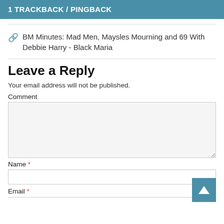1 TRACKBACK / PINGBACK
BM Minutes: Mad Men, Maysles Mourning and 69 With Debbie Harry - Black Maria
Leave a Reply
Your email address will not be published.
Comment
Name *
Email *